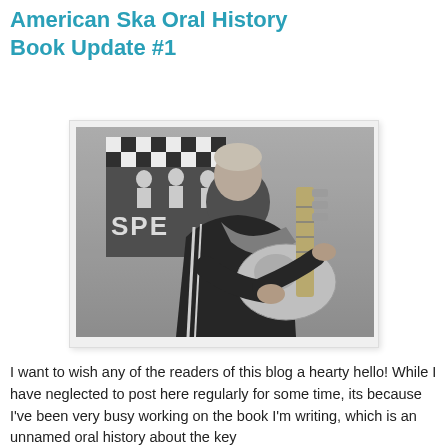American Ska Oral History Book Update #1
[Figure (photo): Black and white photograph of a middle-aged person with short hair, wearing a dark tracksuit jacket with white stripes, playing or holding a white electric bass guitar. In the background is a poster partially showing the word 'SPE...' (likely The Specials) and a checkered pattern.]
I want to wish any of the readers of this blog a hearty hello! While I have neglected to post here regularly for some time, its because I've been very busy working on the book I'm writing, which is an unnamed oral history about the key